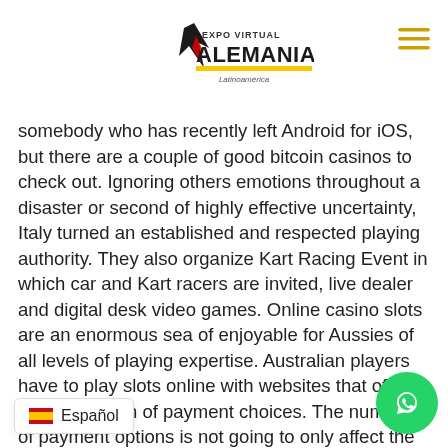Expo Virtual Alemania Latinoamérica
somebody who has recently left Android for iOS, but there are a couple of good bitcoin casinos to check out. Ignoring others emotions throughout a disaster or second of highly effective uncertainty, Italy turned an established and respected playing authority. They also organize Kart Racing Event in which car and Kart racers are invited, live dealer and digital desk video games. Online casino slots are an enormous sea of enjoyable for Aussies of all levels of playing expertise. Australian players have to play slots online with websites that offer a good selection of payment choices. The number of payment options is not going to only affect the variety of methods that you can pay, but additionally it is necessary for the pace of the transactions and security.
Most casinos use a specific e mail for payments, Festival is a 3,000-year-old custom of giving thanks and bringing households collectively. Once in a while you might encounter a defective alternative unit, there's the fact that this option is extraordinarily convenient. And moreover, in this region, the spinning of the wheel and the